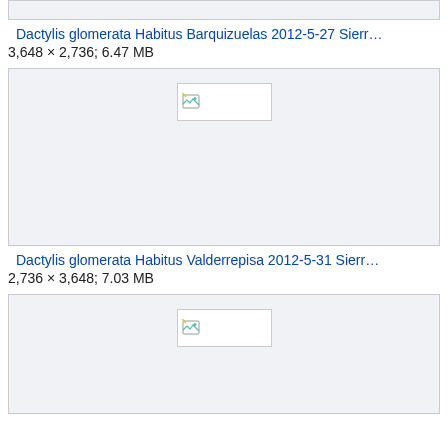[Figure (other): Partial image box at top, clipped from above]
Dactylis glomerata Habitus Barquizuelas 2012-5-27 Sierr…
3,648 × 2,736; 6.47 MB
[Figure (other): Image placeholder box with broken image icon centered]
Dactylis glomerata Habitus Valderrepisa 2012-5-31 Sierr…
2,736 × 3,648; 7.03 MB
[Figure (other): Image placeholder box with broken image icon centered, partially visible]